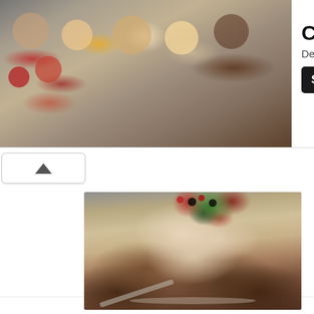[Figure (photo): Advertisement banner showing desserts/cheesecakes in small glass cups arranged on a dark surface, with raspberries and chocolate pieces visible]
Cheesecakes
Delici
[Figure (photo): See More button - black rounded rectangle button with white text]
[Figure (photo): Main food photo showing a layered meringue/pavlova cake topped with strawberries, raspberries, blackberries and mint leaves, on a glass cake stand, with a serving spatula in the foreground, on a wooden table with gray linen]